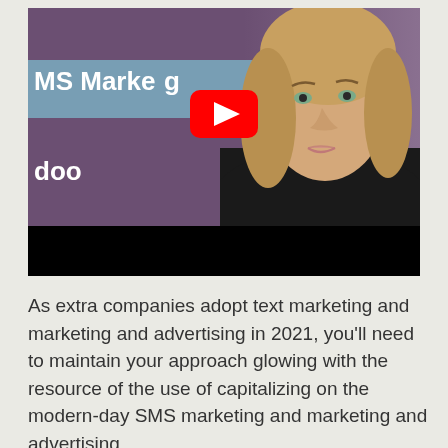[Figure (screenshot): YouTube video thumbnail for an Odoo SMS Marketing video featuring a young woman and a YouTube play button overlay. The thumbnail shows 'MS Marketing' text on a blue bar over a purple background, with 'doo' logo text. A black progress bar is at the bottom.]
As extra companies adopt text marketing and marketing and advertising in 2021, you'll need to maintain your approach glowing with the resource of the use of capitalizing on the modern-day SMS marketing and marketing and advertising